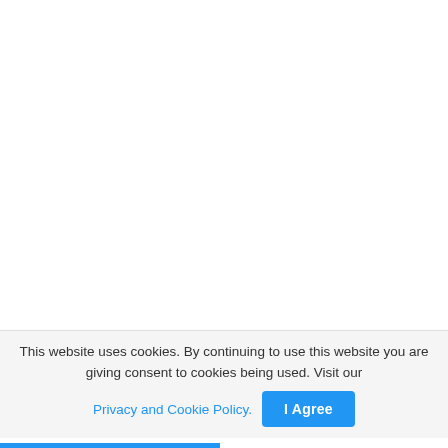This website uses cookies. By continuing to use this website you are giving consent to cookies being used. Visit our Privacy and Cookie Policy.
I Agree